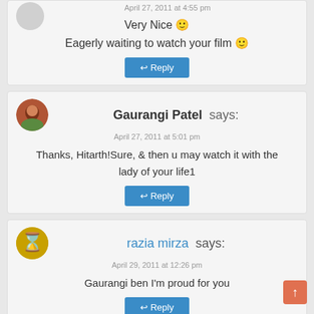April 27, 2011 at 4:55 pm
Very Nice 🙂
Eagerly waiting to watch your film 🙂
↩ Reply
Gaurangi Patel says:
April 27, 2011 at 5:01 pm
Thanks, Hitarth!Sure, & then u may watch it with the lady of your life1
↩ Reply
razia mirza says:
April 29, 2011 at 12:26 pm
Gaurangi ben I'm proud for you
↩ Reply